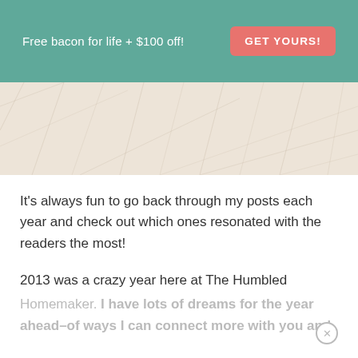Free bacon for life + $100 off! GET YOURS!
[Figure (photo): Light beige/cream textured background with faint diagonal line markings, resembling a decorative paper or fabric texture.]
It's always fun to go back through my posts each year and check out which ones resonated with the readers the most!
2013 was a crazy year here at The Humbled Homemaker. I have lots of dreams for the year ahead–of ways I can connect more with you and